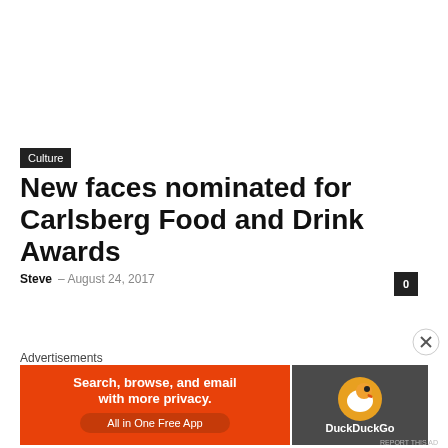Culture
New faces nominated for Carlsberg Food and Drink Awards
Steve – August 24, 2017
Advertisements
[Figure (infographic): DuckDuckGo advertisement banner: orange background with text 'Search, browse, and email with more privacy. All in One Free App' on left, DuckDuckGo duck logo and brand name on dark right panel.]